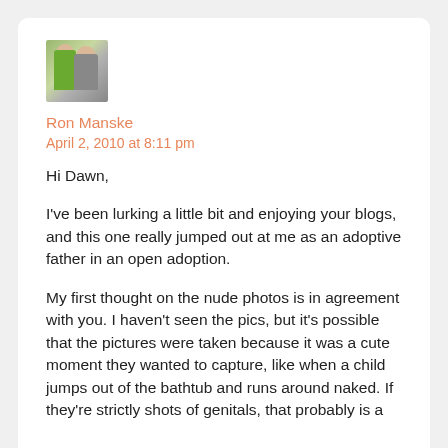[Figure (photo): Small avatar photo of two people, one wearing a green top]
Ron Manske
April 2, 2010 at 8:11 pm
Hi Dawn,

I've been lurking a little bit and enjoying your blogs, and this one really jumped out at me as an adoptive father in an open adoption.

My first thought on the nude photos is in agreement with you. I haven't seen the pics, but it's possible that the pictures were taken because it was a cute moment they wanted to capture, like when a child jumps out of the bathtub and runs around naked. If they're strictly shots of genitals, that probably is a